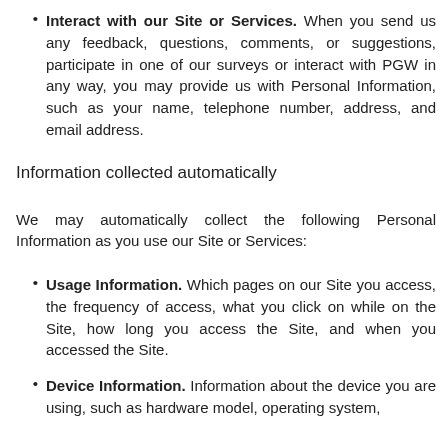Interact with our Site or Services. When you send us any feedback, questions, comments, or suggestions, participate in one of our surveys or interact with PGW in any way, you may provide us with Personal Information, such as your name, telephone number, address, and email address.
Information collected automatically
We may automatically collect the following Personal Information as you use our Site or Services:
Usage Information. Which pages on our Site you access, the frequency of access, what you click on while on the Site, how long you access the Site, and when you accessed the Site.
Device Information. Information about the device you are using, such as hardware model, operating system,